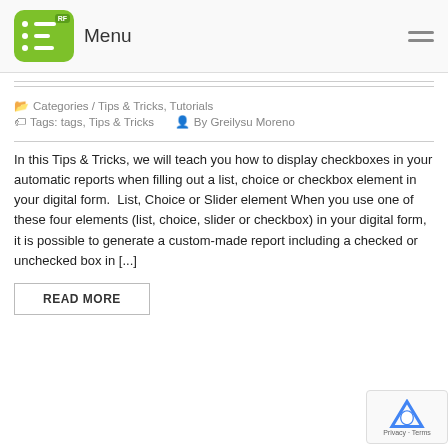Menu
Categories / Tips & Tricks, Tutorials
Tags: tags, Tips & Tricks   By Greilysu Moreno
In this Tips & Tricks, we will teach you how to display checkboxes in your automatic reports when filling out a list, choice or checkbox element in your digital form.  List, Choice or Slider element When you use one of these four elements (list, choice, slider or checkbox) in your digital form, it is possible to generate a custom-made report including a checked or unchecked box in [...]
READ MORE